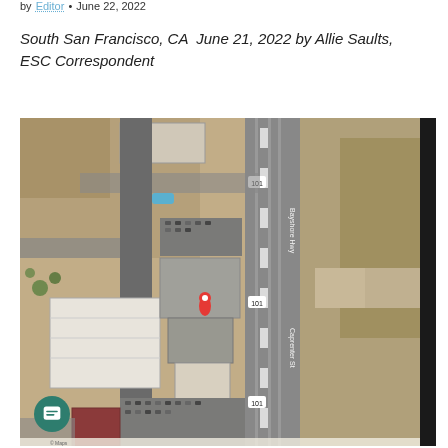by Editor • June 22, 2022
South San Francisco, CA  June 21, 2022 by Allie Saults, ESC Correspondent
[Figure (map): Aerial/satellite map view of South San Francisco, CA showing buildings, parking lots, and a highway (US-101) with a red location pin marker in the center of the image. A chat button appears in the lower left corner.]